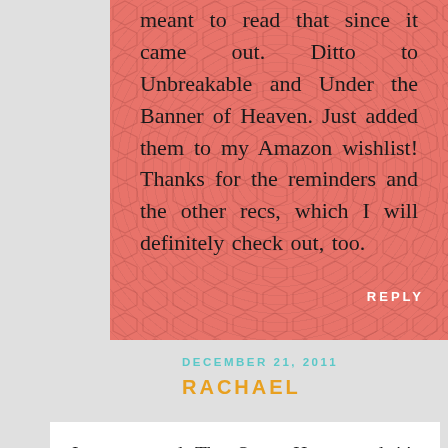meant to read that since it came out. Ditto to Unbreakable and Under the Banner of Heaven. Just added them to my Amazon wishlist! Thanks for the reminders and the other recs, which I will definitely check out, too.
REPLY
DECEMBER 21, 2011
RACHAEL
I recommend The Swan House and it's sequel The Waiting Place by Elizabeth Musser. They're great historical fiction set in 1960s Atlanta (I'm from Atlanta so I loved that real places, like The Swan House, were referenced). The Swan House is about a girl who is following the